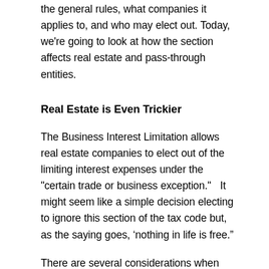the general rules, what companies it applies to, and who may elect out.  Today, we're going to look at how the section affects real estate and pass-through entities.
Real Estate is Even Trickier
The Business Interest Limitation allows real estate companies to elect out of the limiting interest expenses under the "certain trade or business exception."   It might seem like a simple decision electing to ignore this section of the tax code but, as the saying goes, ‘nothing in life is free.”
There are several considerations when talking to your tax advisor about whether to elect out of the business interest limitation.  First, the election is irrevocable.